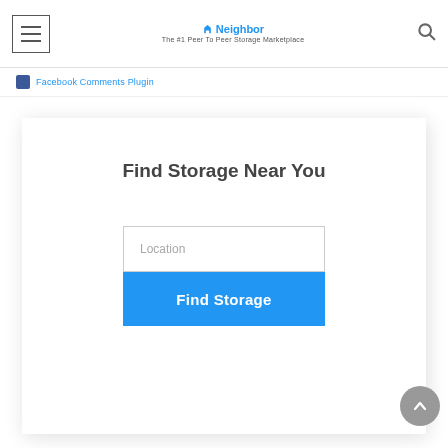Neighbor - The #1 Peer To Peer Storage Marketplace
Facebook Comments Plugin
Find Storage Near You
Location
Find Storage